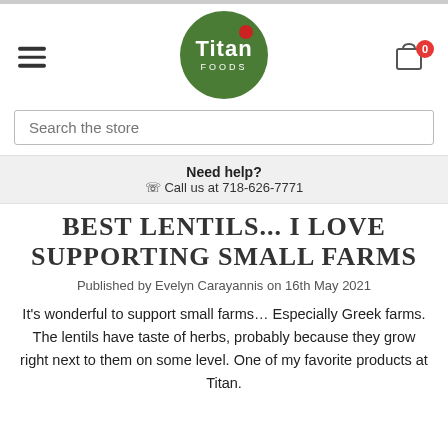[Figure (logo): Titan Foods logo — green circle with white 'Titan FOODS' text and red dot]
Search the store
Need help?
☎ Call us at 718-626-7771
BEST LENTILS... I LOVE SUPPORTING SMALL FARMS
Published by Evelyn Carayannis on 16th May 2021
It's wonderful to support small farms… Especially Greek farms. The lentils have taste of herbs, probably because they grow right next to them on some level. One of my favorite products at Titan.